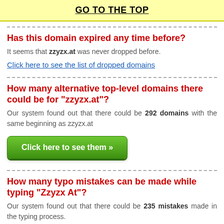GO TO THE TOP
Has this domain expired any time before?
It seems that zzyzx.at was never dropped before.
Click here to see the list of dropped domains
How many alternative top-level domains there could be for "zzyzx.at"?
Our system found out that there could be 292 domains with the same beginning as zzyzx.at
Click here to see them »
How many typo mistakes can be made while typing "Zzyzx At"?
Our system found out that there could be 235 mistakes made in the typing process.